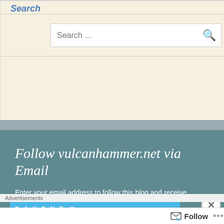Search
[Figure (screenshot): Search input box with placeholder text 'Search ...' and a search icon on the right]
Follow vulcanhammer.net via Email
Enter your email address to follow this blog and receive notifications of new posts by email.
Advertisements
[Figure (screenshot): DAY ONE advertisement banner in blue]
Follow